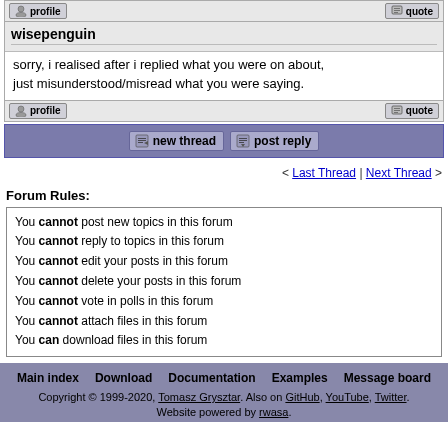but alright if you don't like it, differ macros for me then.
[Figure (screenshot): Profile button (small pixel-art icon with 'profile' label)]
[Figure (screenshot): Quote button (small pixel-art icon with 'quote' label)]
wisepenguin
sorry, i realised after i replied what you were on about, just misunderstood/misread what you were saying.
[Figure (screenshot): Profile button]
[Figure (screenshot): Quote button]
[Figure (screenshot): new thread button]
[Figure (screenshot): post reply button]
< Last Thread | Next Thread >
Forum Rules:
You cannot post new topics in this forum
You cannot reply to topics in this forum
You cannot edit your posts in this forum
You cannot delete your posts in this forum
You cannot vote in polls in this forum
You cannot attach files in this forum
You can download files in this forum
Main index  Download  Documentation  Examples  Message board  Copyright © 1999-2020, Tomasz Grysztar. Also on GitHub, YouTube, Twitter. Website powered by rwasa.